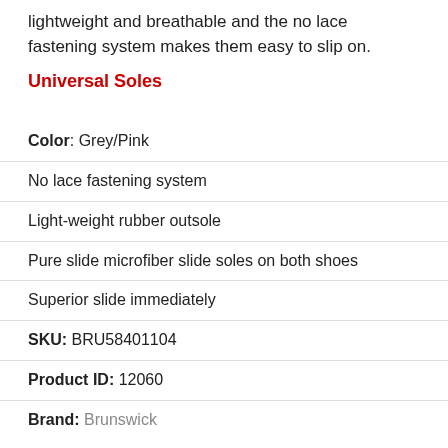lightweight and breathable and the no lace fastening system makes them easy to slip on.
Universal Soles
| Color: Grey/Pink |
| No lace fastening system |
| Light-weight rubber outsole |
| Pure slide microfiber slide soles on both shoes |
| Superior slide immediately |
| SKU: BRU58401104 |
| Product ID: 12060 |
| Brand: Brunswick |